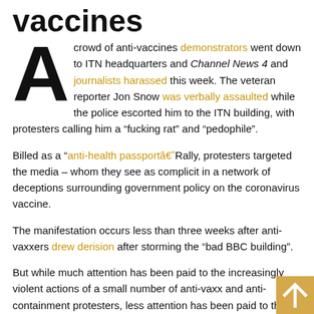vaccines
A crowd of anti-vaccines demonstrators went down to ITN headquarters and Channel News 4 and journalists harassed this week. The veteran reporter Jon Snow was verbally assaulted while the police escorted him to the ITN building, with protesters calling him a “fucking rat” and “pedophile”.
Billed as a “anti-health passportâ€˜Rally, protesters targeted the media – whom they see as complicit in a network of deceptions surrounding government policy on the coronavirus vaccine.
The manifestation occurs less than three weeks after anti-vaxxers drew derision after storming the “bad BBC building”.
But while much attention has been paid to the increasingly violent actions of a small number of anti-vaxx and anti-containment protesters, less attention has been paid to the